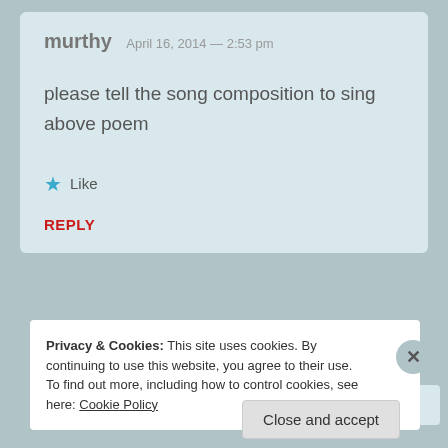murthy   April 16, 2014 — 2:53 pm
please tell the song composition to sing above poem
★ Like
REPLY
Privacy & Cookies: This site uses cookies. By continuing to use this website, you agree to their use.
To find out more, including how to control cookies, see here: Cookie Policy
Close and accept